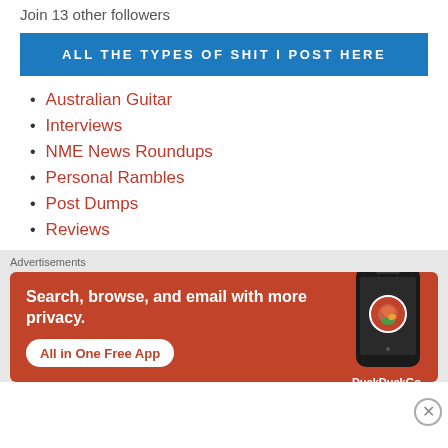Join 13 other followers
ALL THE TYPES OF SHIT I POST HERE
Australian Guitar
Interviews
NME News Roundups
Personal Rambles
Post Dumps
Reviews
Advertisements
[Figure (screenshot): DuckDuckGo advertisement banner: orange/red background with white text 'Search, browse, and email with more privacy. All in One Free App' with a phone showing the DuckDuckGo logo]